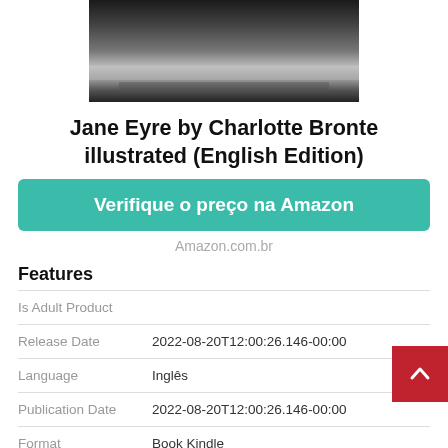[Figure (photo): Partial view of a book cover for Jane Eyre by Charlotte Bronte illustrated English Edition — dark cityscape or gothic image]
Jane Eyre by Charlotte Bronte illustrated (English Edition)
Verifique o preço na Amazon
Amazon.com.br
Features
| Feature | Value |
| --- | --- |
| Is Adult Product |  |
| Release Date | 2022-08-20T12:00:26.146-00:00 |
| Language | Inglês |
| Publication Date | 2022-08-20T12:00:26.146-00:00 |
| Format | Book Kindle |